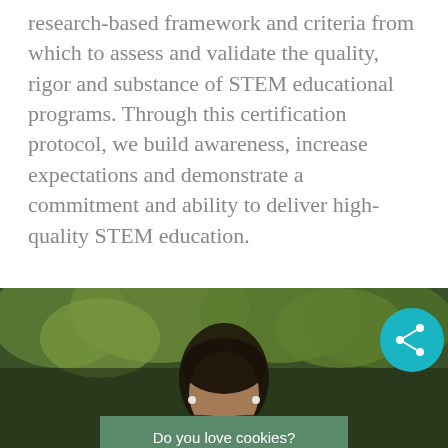research-based framework and criteria from which to assess and validate the quality, rigor and substance of STEM educational programs. Through this certification protocol, we build awareness, increase expectations and demonstrate a commitment and ability to deliver high-quality STEM education.
Great things are happening at the Seaside School... thanks to you!
[Figure (photo): A young woman with eyes closed, wearing earbuds, outdoors with green trees in background. A teal share button is visible in the upper right. A green cookie consent banner reads 'Do you love cookies?' at the bottom.]